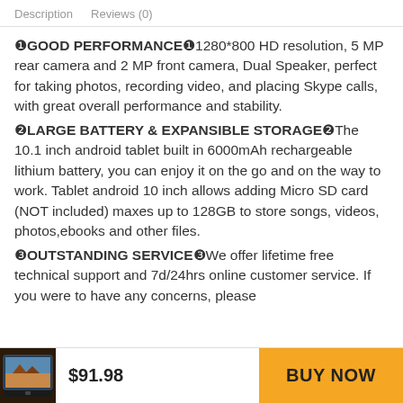Description   Reviews (0)
❶GOOD PERFORMANCE❶1280*800 HD resolution, 5 MP rear camera and 2 MP front camera, Dual Speaker, perfect for taking photos, recording video, and placing Skype calls, with great overall performance and stability.
❷LARGE BATTERY & EXPANSIBLE STORAGE❷The 10.1 inch android tablet built in 6000mAh rechargeable lithium battery, you can enjoy it on the go and on the way to work. Tablet android 10 inch allows adding Micro SD card (NOT included) maxes up to 128GB to store songs, videos, photos,ebooks and other files.
❸OUTSTANDING SERVICE❸We offer lifetime free technical support and 7d/24hrs online customer service. If you were to have any concerns, please
[Figure (photo): Small thumbnail of a tablet product showing a desert landscape on screen]
$91.98
BUY NOW